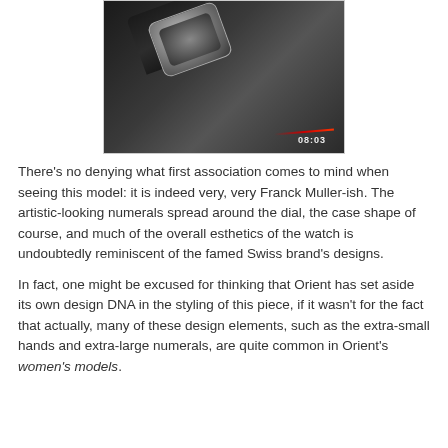[Figure (photo): Close-up photograph of a luxury watch with skeleton dial displaying artistic numerals, placed on a dark reflective surface. A digital time display '08:03' is visible in the lower right area of the image, along with a red light streak.]
There's no denying what first association comes to mind when seeing this model: it is indeed very, very Franck Muller-ish. The artistic-looking numerals spread around the dial, the case shape of course, and much of the overall esthetics of the watch is undoubtedly reminiscent of the famed Swiss brand's designs.
In fact, one might be excused for thinking that Orient has set aside its own design DNA in the styling of this piece, if it wasn't for the fact that actually, many of these design elements, such as the extra-small hands and extra-large numerals, are quite common in Orient's women's models.